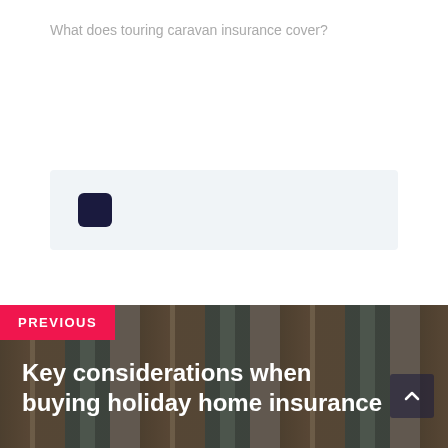What does touring caravan insurance cover?
[Figure (other): Light grey box with a dark navy square icon on the left, representing a widget or interactive element]
[Figure (photo): Stone building facade with wooden shuttered windows and potted plants, overlaid with dark semi-transparent gradient. Contains PREVIOUS badge in pink/red, navigation title text, and a scroll-up button.]
PREVIOUS
Key considerations when buying holiday home insurance